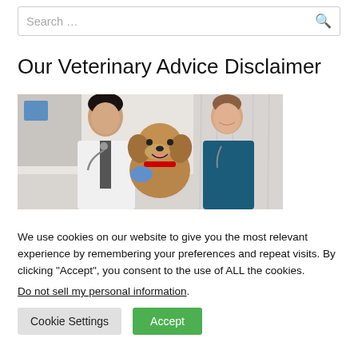Search …
Our Veterinary Advice Disclaimer
[Figure (photo): A male veterinarian in a white coat holding a brown terrier dog, alongside a female veterinary nurse in blue scrubs, both smiling in a clinic setting.]
We use cookies on our website to give you the most relevant experience by remembering your preferences and repeat visits. By clicking "Accept", you consent to the use of ALL the cookies.
Do not sell my personal information.
Cookie Settings
Accept